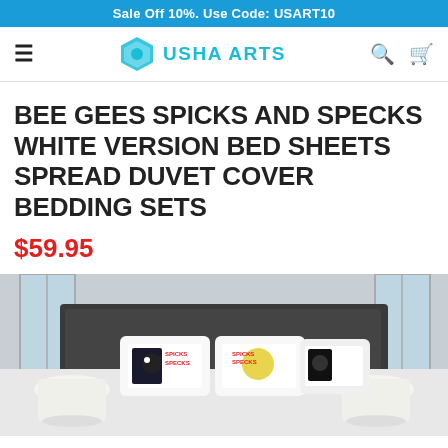Sale Off 10%. Use Code: USART10
[Figure (logo): Usha Arts logo with hexagon icon and teal text]
BEE GEES SPICKS AND SPECKS WHITE VERSION BED SHEETS SPREAD DUVET COVER BEDDING SETS
$59.95
[Figure (photo): Product photo showing a bed with Bee Gees Spicks and Specks pillows and white lamp shades on both sides]